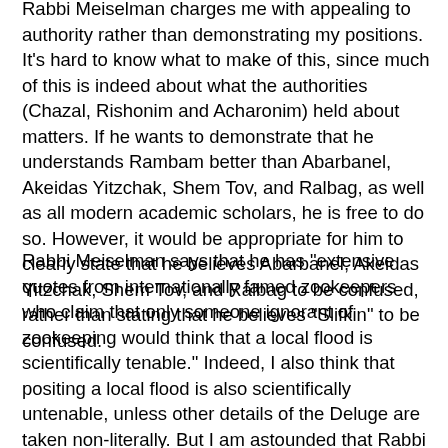Rabbi Meiselman charges me with appealing to authority rather than demonstrating my positions. It's hard to know what to make of this, since much of this is indeed about what the authorities (Chazal, Rishonim and Acharonim) held about matters. If he wants to demonstrate that he understands Rambam better than Abarbanel, Akeidas Yitzchak, Shem Tov, and Ralbag, as well as all modern academic scholars, he is free to do so. However, it would be appropriate for him to clearly state that he believes Abarbanel, Akeidas Yitzchak, Shem Tov, and Ralbag to be confused, rather than stating that he believes "Slifkin" to be confused.
Rabbi Meiselman says that he has "extensive quotes from internationally famed zookeepers who claim that only someone ignorant of zookeeping would think that a local flood is scientifically tenable." Indeed, I also think that positing a local flood is also scientifically untenable, unless other details of the Deluge are taken non-literally. But I am astounded that Rabbi Meiselman is quoting from "internationally famed zookeepers" as to what is scientifically tenable. Is he interested in what internationally famed zoologists, geologists, and archeologists have to say about whether a global flood is scientifically tenable?!